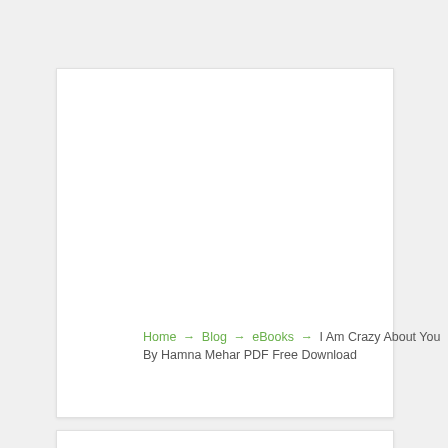Home → Blog → eBooks → I Am Crazy About You By Hamna Mehar PDF Free Download